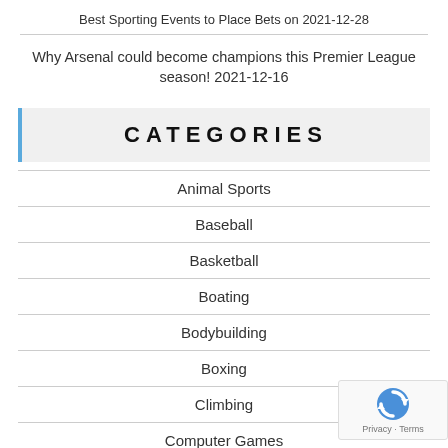Best Sporting Events to Place Bets on 2021-12-28
Why Arsenal could become champions this Premier League season! 2021-12-16
CATEGORIES
Animal Sports
Baseball
Basketball
Boating
Bodybuilding
Boxing
Climbing
Computer Games